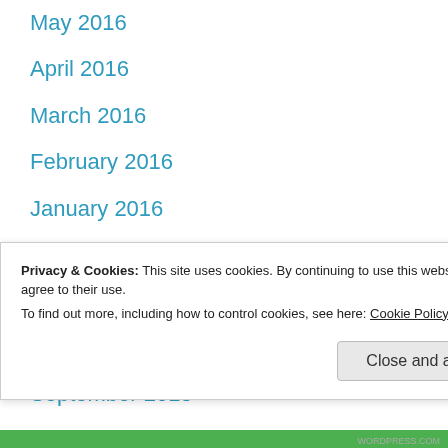May 2016
April 2016
March 2016
February 2016
January 2016
December 2015
November 2015
October 2015
September 2015
August 2015
Privacy & Cookies: This site uses cookies. By continuing to use this website, you agree to their use.
To find out more, including how to control cookies, see here: Cookie Policy
Close and accept